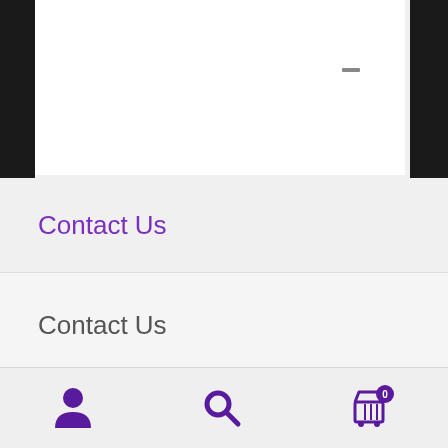[Figure (screenshot): White content area at top of a mobile web page with a minimize/close button icon in the upper right corner]
Contact Us
Contact Us
Please complete this for to submit your query.
[Figure (infographic): Bottom navigation bar with three icons: user/account icon, search/magnifying glass icon, and shopping cart icon with badge showing 0]